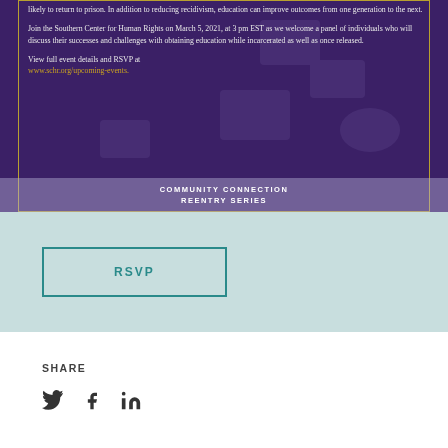[Figure (illustration): Dark purple event flyer with decorative book/education icons in background, gold border, text about Southern Center for Human Rights event, and a light purple bar at the bottom reading COMMUNITY CONNECTION REENTRY SERIES]
likely to return to prison. In addition to reducing recidivism, education can improve outcomes from one generation to the next.
Join the Southern Center for Human Rights on March 5, 2021, at 3 pm EST as we welcome a panel of individuals who will discuss their successes and challenges with obtaining education while incarcerated as well as once released.
View full event details and RSVP at www.schr.org/upcoming-events.
COMMUNITY CONNECTION
REENTRY SERIES
RSVP
SHARE
[Figure (infographic): Social media share icons: Twitter bird, Facebook f, LinkedIn in]